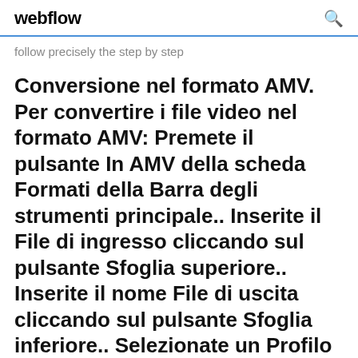webflow
follow precisely the step by step
Conversione nel formato AMV. Per convertire i file video nel formato AMV: Premete il pulsante In AMV della scheda Formati della Barra degli strumenti principale.. Inserite il File di ingresso cliccando sul pulsante Sfoglia superiore.. Inserite il nome File di uscita cliccando sul pulsante Sfoglia inferiore.. Selezionate un Profilo